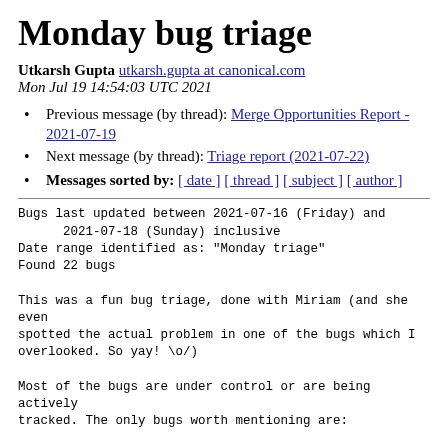Monday bug triage
Utkarsh Gupta utkarsh.gupta at canonical.com
Mon Jul 19 14:54:03 UTC 2021
Previous message (by thread): Merge Opportunities Report - 2021-07-19
Next message (by thread): Triage report (2021-07-22)
Messages sorted by: [ date ] [ thread ] [ subject ] [ author ]
Bugs last updated between 2021-07-16 (Friday) and
      2021-07-18 (Sunday) inclusive
Date range identified as: "Monday triage"
Found 22 bugs

This was a fun bug triage, done with Miriam (and she even
spotted the actual problem in one of the bugs which I
overlooked. So yay! \o/)

Most of the bugs are under control or are being actively
tracked. The only bugs worth mentioning are: